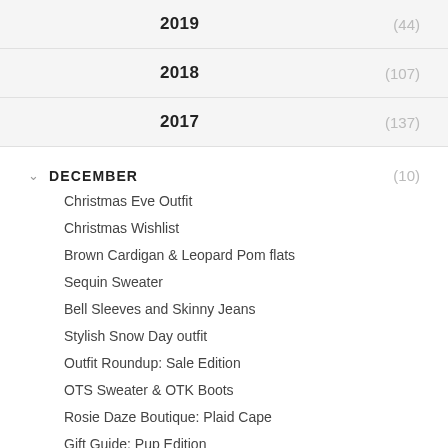2019 (44)
2018 (107)
2017 (137)
DECEMBER (10)
Christmas Eve Outfit
Christmas Wishlist
Brown Cardigan & Leopard Pom flats
Sequin Sweater
Bell Sleeves and Skinny Jeans
Stylish Snow Day outfit
Outfit Roundup: Sale Edition
OTS Sweater & OTK Boots
Rosie Daze Boutique: Plaid Cape
Gift Guide: Pup Edition
NOVEMBER (11)
OCTOBER (11)